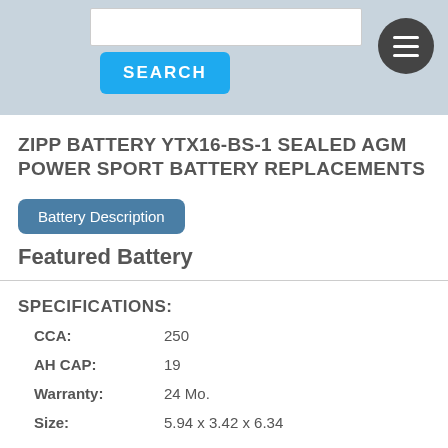[Figure (screenshot): Website header with search box, blue SEARCH button, and dark circular hamburger menu icon on a grey/blue background]
ZIPP BATTERY YTX16-BS-1 SEALED AGM POWER SPORT BATTERY REPLACEMENTS
Battery Description
Featured Battery
SPECIFICATIONS:
CCA: 250
AH CAP: 19
Warranty: 24 Mo.
Size: 5.94 x 3.42 x 6.34